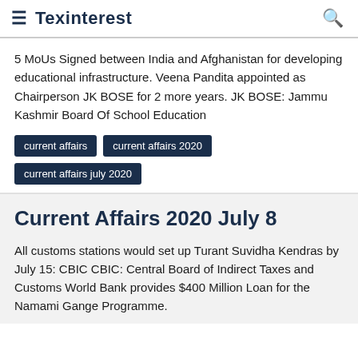Texinterest
5 MoUs Signed between India and Afghanistan for developing educational infrastructure. Veena Pandita appointed as Chairperson JK BOSE for 2 more years. JK BOSE: Jammu Kashmir Board Of School Education
current affairs
current affairs 2020
current affairs july 2020
Current Affairs 2020 July 8
All customs stations would set up Turant Suvidha Kendras by July 15: CBIC CBIC: Central Board of Indirect Taxes and Customs World Bank provides $400 Million Loan for the Namami Gange Programme.